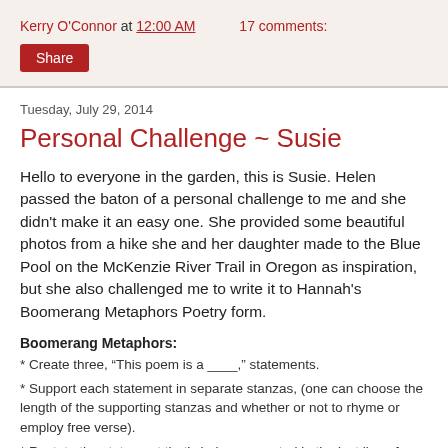Kerry O'Connor at 12:00 AM    17 comments:
Share
Tuesday, July 29, 2014
Personal Challenge ~ Susie
Hello to everyone in the garden, this is Susie. Helen passed the baton of a personal challenge to me and she didn't make it an easy one. She provided some beautiful photos from a hike she and her daughter made to the Blue Pool on the McKenzie River Trail in Oregon as inspiration, but she also challenged me to write it to Hannah's Boomerang Metaphors Poetry form.
Boomerang Metaphors:
* Create three, “This poem is a ____,” statements.
* Support each statement in separate stanzas, (one can choose the length of the supporting stanzas and whether or not to rhyme or employ free verse).
* Restate the statement that’s being supported in the last line of these supporting stanzas. (as